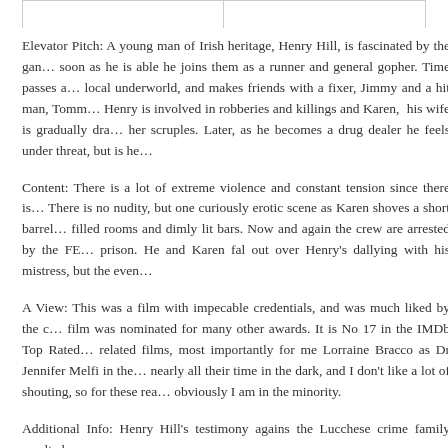Elevator Pitch: A young man of Irish heritage, Henry Hill, is fascinated by the gan… soon as he is able he joins them as a runner and general gopher. Time passes a… local underworld, and makes friends with a fixer, Jimmy and a hit man, Tomm… Henry is involved in robberies and killings and Karen, his wife is gradually dra… her scruples. Later, as he becomes a drug dealer he feels under threat, but is he…
Content: There is a lot of extreme violence and constant tension since there is… There is no nudity, but one curiously erotic scene as Karen shoves a short barrel… filled rooms and dimly lit bars. Now and again the crew are arrested by the FB… prison. He and Karen fal out over Henry's dallying with his mistress, but the even…
A View: This was a film with impecable credentials, and was much liked by the d… film was nominated for many other awards. It is No 17 in the IMDb Top Rated… related films, most importantly for me Lorraine Bracco as Dr Jennifer Melfi in the… nearly all their time in the dark, and I don't like a lot of shouting, so for these rea… obviously I am in the minority.
Additional Info: Henry Hill's testimony agains the Lucchese crime family resulted…
Share this:
Twitter
Facebook